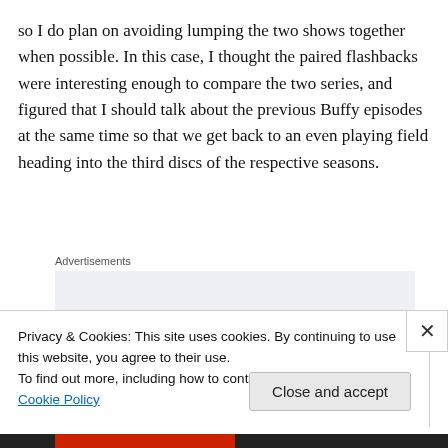so I do plan on avoiding lumping the two shows together when possible. In this case, I thought the paired flashbacks were interesting enough to compare the two series, and figured that I should talk about the previous Buffy episodes at the same time so that we get back to an even playing field heading into the third discs of the respective seasons.
[Figure (other): Advertisement box with light blue-grey background showing large serif text 'Build a writing' with label 'Advertisements' above]
Privacy & Cookies: This site uses cookies. By continuing to use this website, you agree to their use.
To find out more, including how to control cookies, see here: Cookie Policy